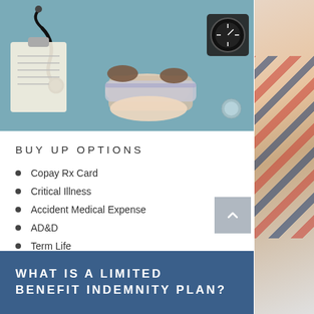[Figure (photo): Overhead view of a medical professional measuring a patient's blood pressure, with a stethoscope, clipboard, and blood pressure gauge visible on a teal surface.]
BUY UP OPTIONS
Copay Rx Card
Critical Illness
Accident Medical Expense
AD&D
Term Life
Dental and Vision
Short-term Disability
Virtual Direct Primary Care (DPC)
WHAT IS A LIMITED BENEFIT INDEMNITY PLAN?